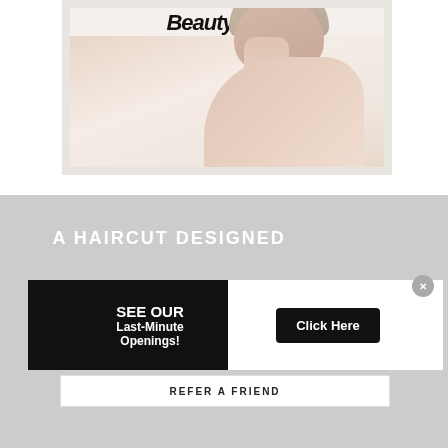[Figure (photo): Cropped image showing the back of a person's head and bare shoulder with short blonde hair, framed with a white border, with 'Beauty Guru' text overlaid at the top]
A HAIRCUT DESIGNED FOR YOU.
SEE OUR Last-Minute Openings!
Click Here
REFER A FRIEND